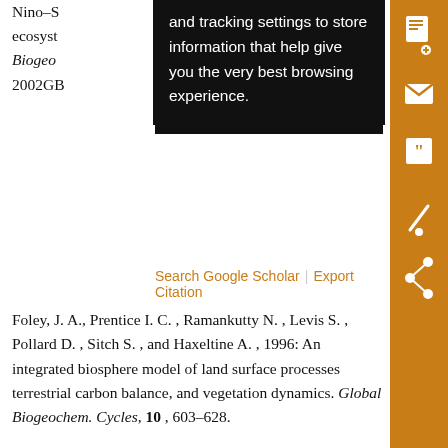Nino–S… ecosystem… Biogeochem… 2002GB…
and tracking settings to store information that help give you the very best browsing experience.
Search Google Scholar | Export Citation
Foley, J. A., Prentice I. C. , Ramankutty N. , Levis S. , Pollard D. , Sitch S. , and Haxeltine A. , 1996: An integrated biosphere model of land surface processes terrestrial carbon balance, and vegetation dynamics. Global Biogeochem. Cycles, 10 , 603–628.
Crossref | Search Google Scholar
Export Citation
Geng, S., Penning De Vries F. W. T. , and Supit I. , 1985: A simple method for generating daily rainfall